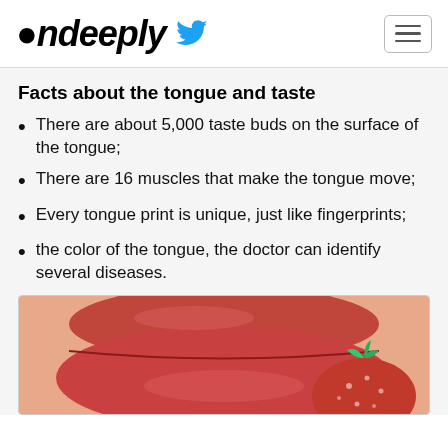Ondeeply
Facts about the tongue and taste
There are about 5,000 taste buds on the surface of the tongue;
There are 16 muscles that make the tongue move;
Every tongue print is unique, just like fingerprints;
the color of the tongue, the doctor can identify several diseases.
[Figure (photo): Close-up photo of lips with a strawberry in front, showing tongue and taste context]